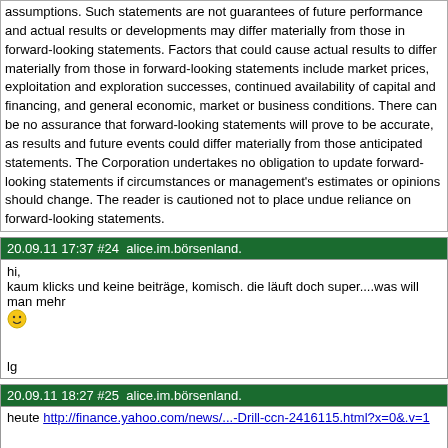assumptions. Such statements are not guarantees of future performance and actual results or developments may differ materially from those in forward-looking statements. Factors that could cause actual results to differ materially from those in forward-looking statements include market prices, exploitation and exploration successes, continued availability of capital and financing, and general economic, market or business conditions. There can be no assurance that forward-looking statements will prove to be accurate, as results and future events could differ materially from those anticipated statements. The Corporation undertakes no obligation to update forward-looking statements if circumstances or management's estimates or opinions should change. The reader is cautioned not to place undue reliance on forward-looking statements.
20.09.11 17:37 #24  alice.im.börsenland.
hi,
kaum klicks und keine beiträge, komisch. die läuft doch super....was will man mehr
[smiley]


lg
20.09.11 18:27 #25  alice.im.börsenland.
heute http://finance.yahoo.com/news/...-Drill-ccn-2416115.html?x=0&.v=1
Seite: 1 | 2 | 3 | 4 | 5 von 10
Antwort einfügen - nach oben
Lesezeichen mit Kommentar auf diesen Thread setzen:
EINFÜGEN